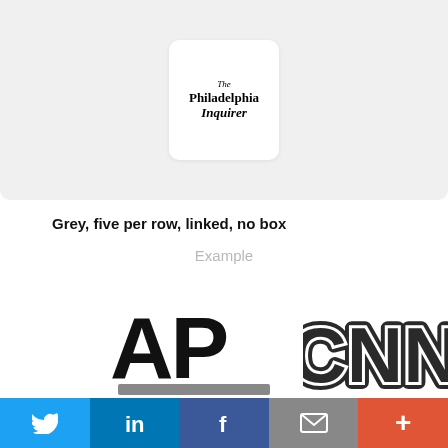[Figure (logo): The Philadelphia Inquirer logo in a white rounded box on a grey background]
Grey, five per row, linked, no box
Example
[Figure (logo): AP (Associated Press) logo in large bold black text]
[Figure (logo): CNN logo in bold outlined black letters]
[Figure (other): Grey horizontal bar/divider]
[Figure (infographic): Bottom social sharing bar with Twitter, LinkedIn, Facebook, Email, and More buttons]